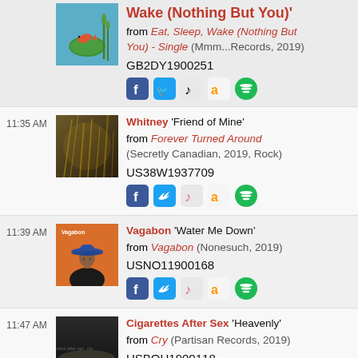Eat, Sleep, Wake (Nothing But You)' from Eat, Sleep, Wake (Nothing But You) - Single (Mmm...Records, 2019) GB2DY1900251
11:35 AM Whitney 'Friend of Mine' from Forever Turned Around (Secretly Canadian, 2019, Rock) US38W1937709
11:39 AM Vagabon 'Water Me Down' from Vagabon (Nonesuch, 2019) USNO11900168
11:47 AM Cigarettes After Sex 'Heavenly' from Cry (Partisan Records, 2019) USBQU1900118